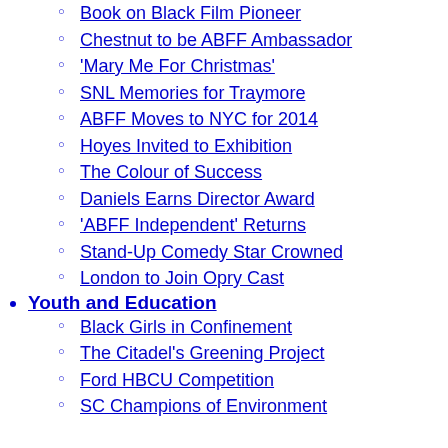Book on Black Film Pioneer
Chestnut to be ABFF Ambassador
'Mary Me For Christmas'
SNL Memories for Traymore
ABFF Moves to NYC for 2014
Hoyes Invited to Exhibition
The Colour of Success
Daniels Earns Director Award
'ABFF Independent' Returns
Stand-Up Comedy Star Crowned
London to Join Opry Cast
Youth and Education
Black Girls in Confinement
The Citadel's Greening Project
Ford HBCU Competition
SC Champions of Environment